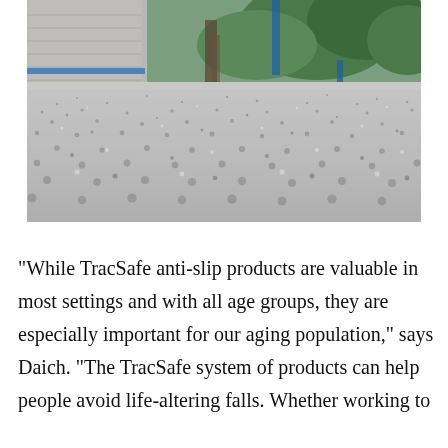[Figure (photo): Close-up ground-level photograph of a textured anti-slip surface (concrete or similar granular surface). In the background, a building wall with blue tape and green vegetation/trees are visible. The perspective is very low, emphasizing the rough texture of the surface.]
“While TracSafe anti-slip products are valuable in most settings and with all age groups, they are especially important for our aging population,” says Daich. “The TracSafe system of products can help people avoid life-altering falls. Whether working to…